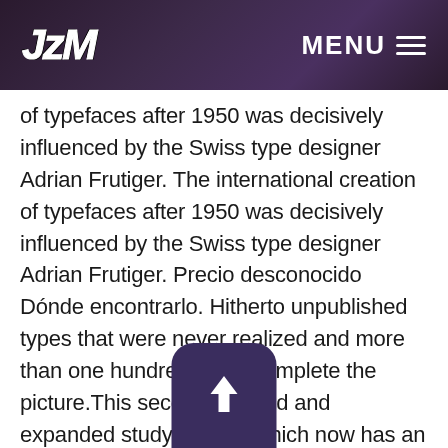JzM  MENU ≡
of typefaces after 1950 was decisively influenced by the Swiss type designer Adrian Frutiger. The international creation of typefaces after 1950 was decisively influenced by the Swiss type designer Adrian Frutiger. Precio desconocido Dónde encontrarlo. Hitherto unpublished types that were never realized and more than one hundred logos complete the picture.This second, revised and expanded study edition, which now has an index, makes Frutiger's achievement even more accessible. As follo  y Labour MP Tom Watson PDF-EPub B  y Dr Aseem
[Figure (illustration): Upload/share button icon — dark purple rounded rectangle with upward arrow]